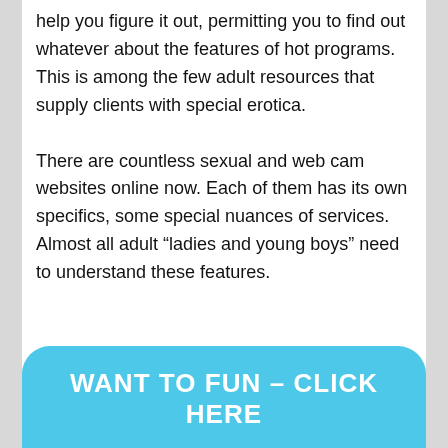help you figure it out, permitting you to find out whatever about the features of hot programs. This is among the few adult resources that supply clients with special erotica.
There are countless sexual and web cam websites online now. Each of them has its own specifics, some special nuances of services. Almost all adult “ladies and young boys” need to understand these features.
WANT TO FUN – CLICK HERE